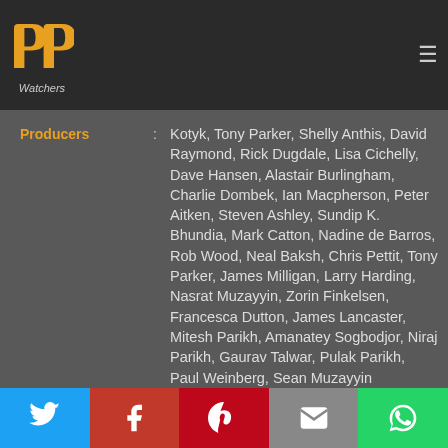[Figure (logo): PP Watchers logo - orange double P icon with 'Watchers' text below]
Producers : Kotyk, Tony Parker, Shelly Anthis, David Raymond, Rick Dugdale, Lisa Cichelly, Dave Hansen, Alastair Burlingham, Charlie Dombek, Ian Macpherson, Peter Aitken, Steven Ashley, Sundip K. Bhundia, Mark Catton, Nadine de Barros, Rob Wood, Neal Baksh, Chris Pettit, Tony Parker, James Milligan, Larry Harding, Nasrat Muzayyin, Zorin Finkelsen, Francesca Dutton, James Lancaster, Mitesh Parikh, Amanatey Sogbodjor, Niraj Parikh, Gaurav Talwar, Pulak Parikh, Paul Weinberg, Sean Muzayyin
Writers : David Raymond
RunTime : 72mins